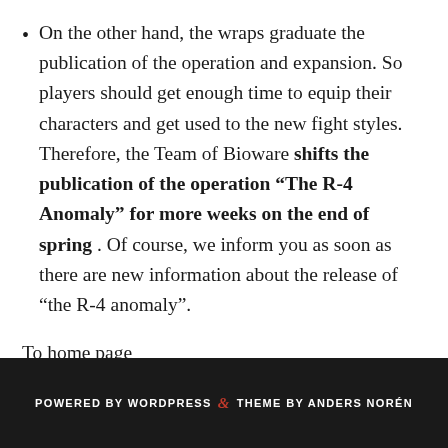On the other hand, the wraps graduate the publication of the operation and expansion. So players should get enough time to equip their characters and get used to the new fight styles. Therefore, the Team of Bioware shifts the publication of the operation “The R-4 Anomaly” for more weeks on the end of spring . Of course, we inform you as soon as there are new information about the release of “the R-4 anomaly”.
To home page
POWERED BY WORDPRESS & THEME BY ANDERS NORÉN